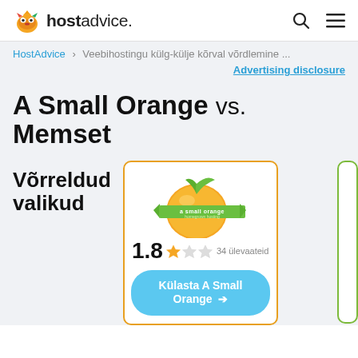hostadvice. [search icon] [menu icon]
HostAdvice > Veebihostingu külg-külje kõrval võrdlemine ...
Advertising disclosure
A Small Orange vs. Memset
Võrreldud valikud
[Figure (logo): A Small Orange logo - orange fruit with green leaf and green ribbon banner saying 'a small orange homegrown hosting']
1.8  34 ülevaateid
Külasta A Small Orange →